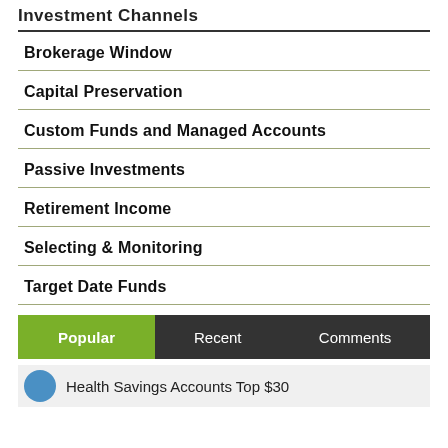Investment Channels
Brokerage Window
Capital Preservation
Custom Funds and Managed Accounts
Passive Investments
Retirement Income
Selecting & Monitoring
Target Date Funds
Popular  Recent  Comments
Health Savings Accounts Top $30